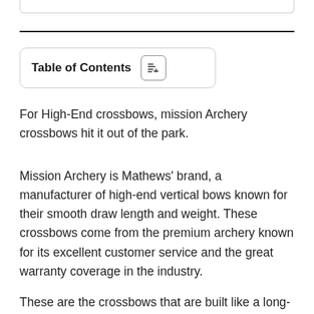Table of Contents
For High-End crossbows, mission Archery crossbows hit it out of the park.
Mission Archery is Mathews' brand, a manufacturer of high-end vertical bows known for their smooth draw length and weight. These crossbows come from the premium archery known for its excellent customer service and the great warranty coverage in the industry.
These are the crossbows that are built like a long-